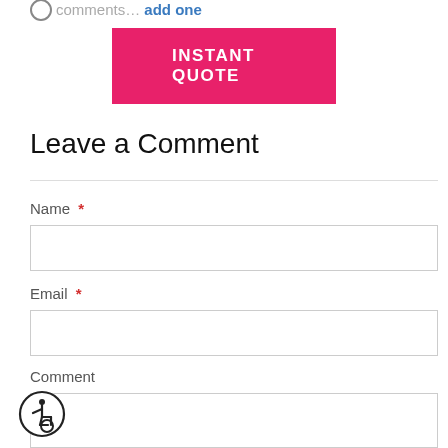0 comments... add one
INSTANT QUOTE
Leave a Comment
Name *
Email *
Comment
[Figure (illustration): Wheelchair accessibility icon in a circle]